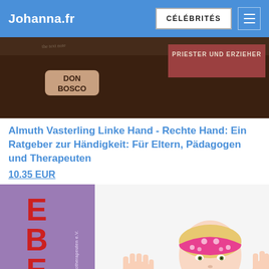Johanna.fr | CÉLÉBRITÉS
[Figure (photo): Book cover showing 'PRIESTER UND ERZIEHER' with 'DON BOSCO' label on dark brown background]
Almuth Vasterling Linke Hand - Rechte Hand: Ein Ratgeber zur Händigkeit: Für Eltern, Pädagogen und Therapeuten
10.35 EUR
[Figure (photo): Book cover with purple/mauve background showing large red letters 'EBER', text 'Verband der Ergotherapeuten e.V.' vertically, and a young blonde girl wearing a pink floral bandana with her hands raised showing palms]